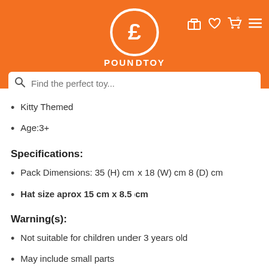[Figure (logo): POUNDTOY logo: orange header bar with white circle containing pound sign (£), brand name POUNDTOY below, nav icons top right]
[Figure (screenshot): Search bar with magnifying glass icon and placeholder text 'Find the perfect toy...']
Kitty Themed
Age:3+
Specifications:
Pack Dimensions: 35 (H) cm x 18 (W) cm 8 (D) cm
Hat size aprox 15 cm x 8.5 cm
Warning(s):
Not suitable for children under 3 years old
May include small parts